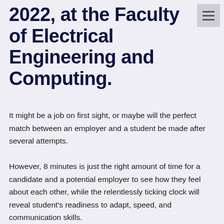2022, at the Faculty of Electrical Engineering and Computing.
It might be a job on first sight, or maybe will the perfect match between an employer and a student be made after several attempts.
However, 8 minutes is just the right amount of time for a candidate and a potential employer to see how they feel about each other, while the relentlessly ticking clock will reveal student's readiness to adapt, speed, and communication skills.